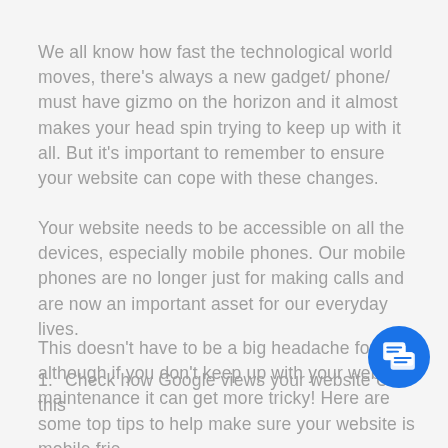We all know how fast the technological world moves, there's always a new gadget/ phone/ must have gizmo on the horizon and it almost makes your head spin trying to keep up with it all. But it's important to remember to ensure your website can cope with these changes.
Your website needs to be accessible on all the devices, especially mobile phones. Our mobile phones are no longer just for making calls and are now an important asset for our everyday lives.
This doesn't have to be a big headache for you, although if you don't keep up with your website maintenance it can get more tricky! Here are some top tips to help make sure your website is mobile frie
Check how Google views your website Use this